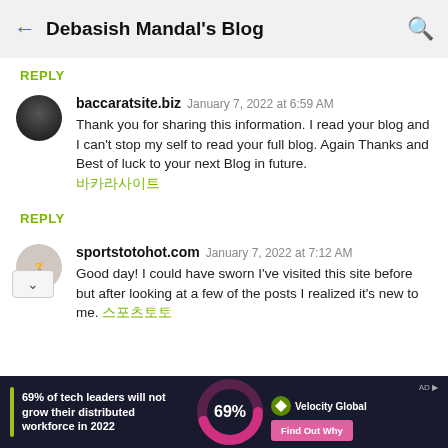Debasish Mandal's Blog
REPLY
baccaratsite.biz   January 7, 2022 at 6:59 AM
Thank you for sharing this information. I read your blog and I can't stop my self to read your full blog. Again Thanks and Best of luck to your next Blog in future.
바카라사이트
REPLY
sportstotohot.com   January 7, 2022 at 7:12 AM
Good day! I could have sworn I've visited this site before but after looking at a few of the posts I realized it's new to me. 스포츠토토
[Figure (infographic): Ad banner: '69% of tech leaders will not grow their distributed workforce in 2022' with a 69% donut chart, Velocity Global logo, and 'Find Out Why' button]